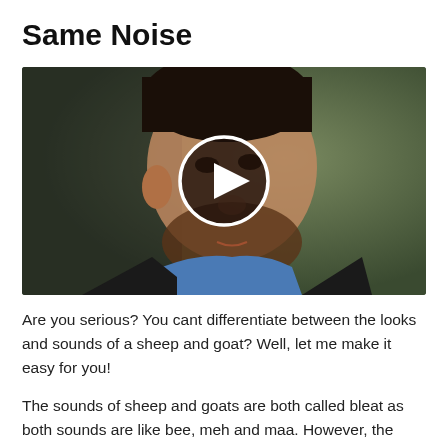Same Noise
[Figure (screenshot): Video thumbnail showing a man with a beard in a blue shirt and dark jacket, with a play button overlay in the center. Background is dark olive/green.]
Are you serious? You cant differentiate between the looks and sounds of a sheep and goat? Well, let me make it easy for you!
The sounds of sheep and goats are both called bleat as both sounds are like bee, meh and maa. However, the looks of